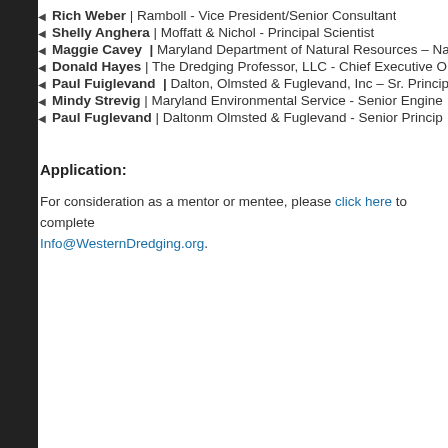Rich Weber | Ramboll - Vice President/Senior Consultant
Shelly Anghera | Moffatt & Nichol - Principal Scientist
Maggie Cavey | Maryland Department of Natural Resources – Na
Donald Hayes | The Dredging Professor, LLC - Chief Executive O
Paul Fuiglevand | Dalton, Olmsted & Fuglevand, Inc – Sr. Princip
Mindy Strevig | Maryland Environmental Service - Senior Engine
Paul Fuglevand | Daltonm Olmsted & Fuglevand - Senior Princip
Application:
For consideration as a mentor or mentee, please click here to complete Info@WesternDredging.org.